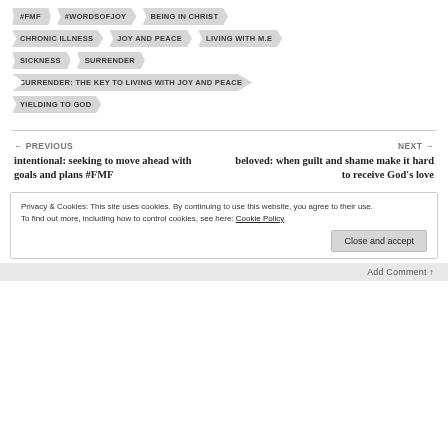#FMF
#WORDSOFJOY
BEING IN CHRIST
CHRONIC ILLNESS
JOY AND PEACE
LIVING WITH M.E
SICKNESS
SURRENDER
SURRENDER: THE KEY TO LIVING WITH JOY AND PEACE
YIELDING TO GOD
← PREVIOUS
intentional: seeking to move ahead with goals and plans #FMF
NEXT →
beloved: when guilt and shame make it hard to receive God's love
Privacy & Cookies: This site uses cookies. By continuing to use this website, you agree to their use.
To find out more, including how to control cookies, see here: Cookie Policy
Close and accept
Add Comment ↑